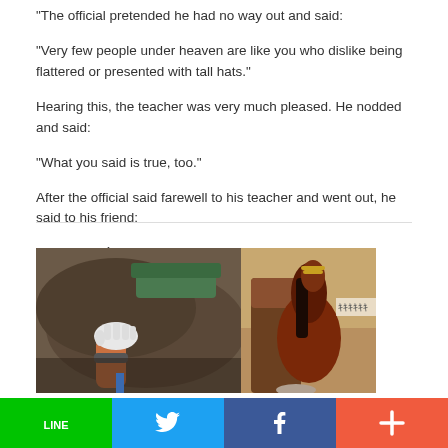"The official pretended he had no way out and said:"
"Very few people under heaven are like you who dislike being flattered or presented with tall hats."
Hearing this, the teacher was very much pleased. He nodded and said:
"What you said is true, too."
After the official said farewell to his teacher and went out, he said to his friend:
"Of my 100 `tall hats'—now only 99 are left."
[Figure (photo): Two photos of horses side by side. Left: a person's hand patting the dark brown flank of a horse with a green saddle blanket. Right: a reddish-brown horse standing near a building entrance.]
LINE | Twitter | Facebook | +